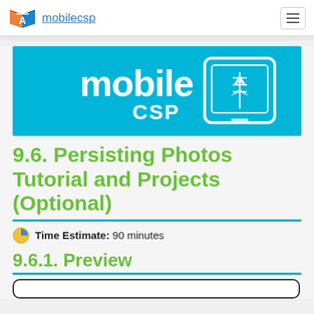mobilecsp
[Figure (logo): Mobile CSP logo banner: cyan/teal background with white text 'mobile CSP' and a white phone/box icon with geometric shapes]
9.6. Persisting Photos Tutorial and Projects (Optional)
Time Estimate: 90 minutes
9.6.1. Preview
[Figure (screenshot): Preview screenshot box (white rounded rectangle outline)]